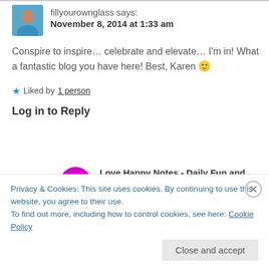fillyourownglass says:
November 8, 2014 at 1:33 am
Conspire to inspire… celebrate and elevate… I'm in! What a fantastic blog you have here! Best, Karen 🙂
★ Liked by 1 person
Log in to Reply
Love Happy Notes - Daily Fun and Inspiration says:
December 23, 2014 at 1:38 pm
Privacy & Cookies: This site uses cookies. By continuing to use this website, you agree to their use.
To find out more, including how to control cookies, see here: Cookie Policy
Close and accept